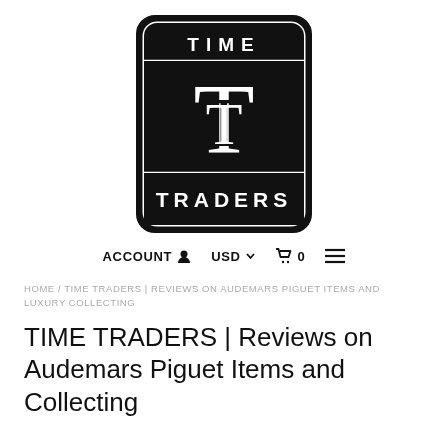[Figure (logo): Time Traders logo: black rounded rectangle with 'TIME' text at top, two overlapping T letters in center, 'TRADERS' text at bottom, all white on black background]
ACCOUNT  USD  0  ☰
HOME / TIME TRADERS | REVIEWS ON AUDEMARS PIGUET ITEMS AND LUXURY COLLECTING
TIME TRADERS | Reviews on Audemars Piguet Items and Collecting